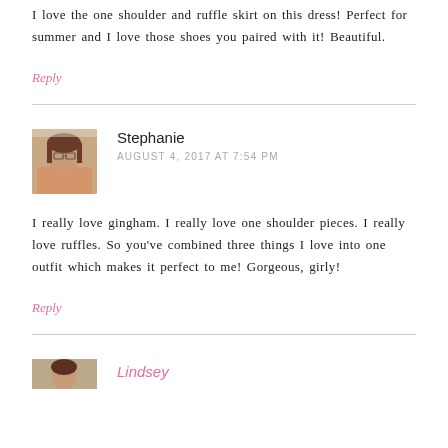I love the one shoulder and ruffle skirt on this dress! Perfect for summer and I love those shoes you paired with it! Beautiful.
Reply
[Figure (photo): Profile photo of Stephanie, a woman with glasses and brown hair]
Stephanie
AUGUST 4, 2017 AT 7:54 PM
I really love gingham. I really love one shoulder pieces. I really love ruffles. So you’ve combined three things I love into one outfit which makes it perfect to me! Gorgeous, girly!
Reply
Lindsey